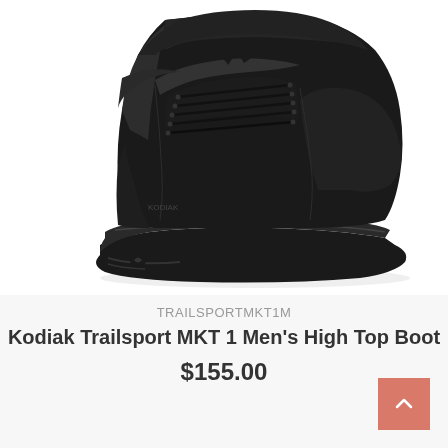[Figure (photo): Black Kodiak Trailsport MKT 1 Men's High Top Boot shown from the side, with black laces, textured upper, and chunky rubber sole, on a white background.]
TRAILSPORTMKT1M
Kodiak Trailsport MKT 1 Men's High Top Boot
$155.00